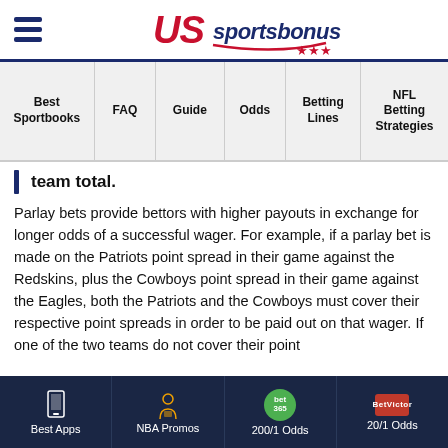US Sportsbonus
Best Sportbooks | FAQ | Guide | Odds | Betting Lines | NFL Betting Strategies
team total.
Parlay bets provide bettors with higher payouts in exchange for longer odds of a successful wager. For example, if a parlay bet is made on the Patriots point spread in their game against the Redskins, plus the Cowboys point spread in their game against the Eagles, both the Patriots and the Cowboys must cover their respective point spreads in order to be paid out on that wager. If one of the two teams do not cover their point
Best Apps | NBA Promos | 200/1 Odds | 20/1 Odds